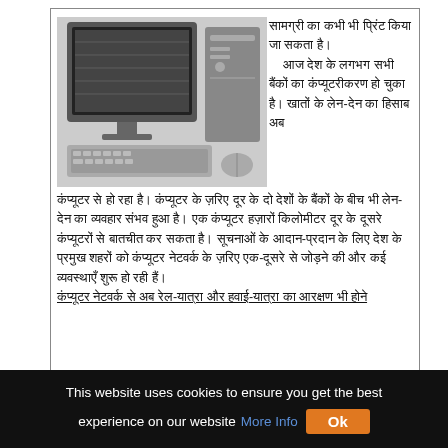[Figure (photo): Scanned article page in Hindi showing a computer (monitor, keyboard, mouse) photograph on the left, with Hindi text about computers and banking/networking on the right and below.]
009 Essays On The Importance Of Education Essay Advantages And Di
This website uses cookies to ensure you get the best experience on our website More Info Ok